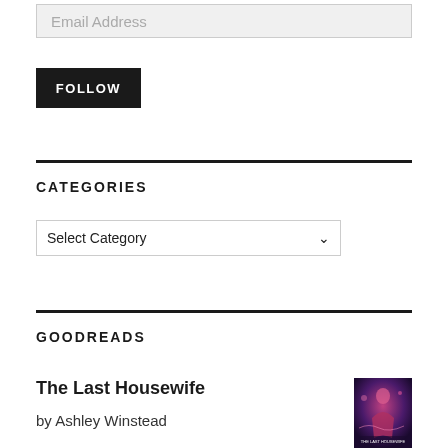Email Address
FOLLOW
CATEGORIES
Select Category
GOODREADS
The Last Housewife
by Ashley Winstead
[Figure (illustration): Book cover for The Last Housewife — dark purple/blue tones with illustrated figure]